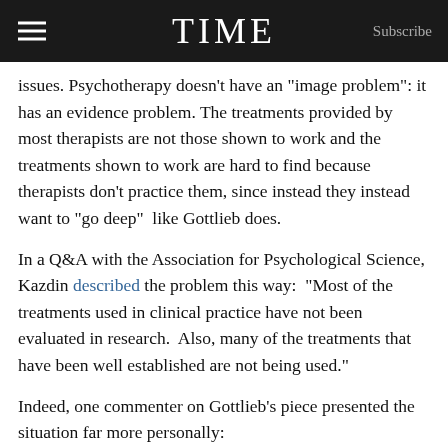TIME   Subscribe
issues. Psychotherapy doesn’t have an “image problem”: it has an evidence problem. The treatments provided by most therapists are not those shown to work and the treatments shown to work are hard to find because therapists don’t practice them, since instead they instead want to “go deep”  like Gottlieb does.
In a Q&A with the Association for Psychological Science, Kazdin described the problem this way:  “Most of the treatments used in clinical practice have not been evaluated in research.  Also, many of the treatments that have been well established are not being used.”
Indeed, one commenter on Gottlieb’s piece presented the situation far more personally:
If therapists want to attract patients, perhaps